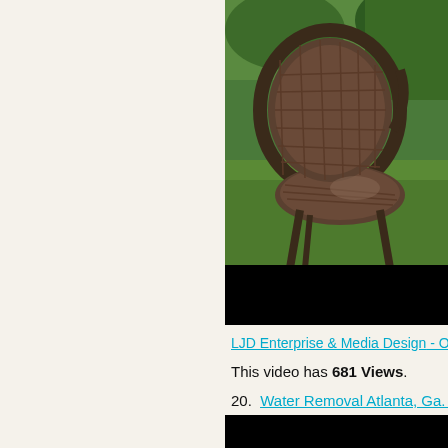[Figure (photo): Outdoor wicker/metal patio chair on green grass with garden plants in background, partially cropped on right side]
LJD Enterprise & Media Design - Oc
This video has 681 Views.
20.  Water Removal Atlanta, Ga. 678